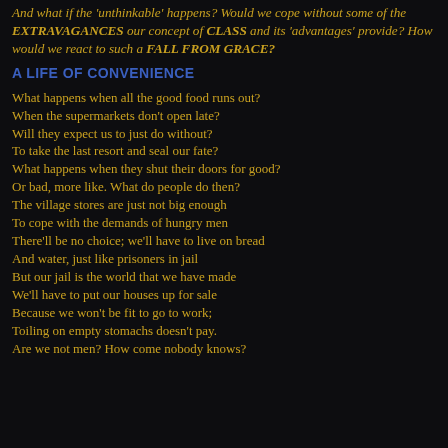And what if the 'unthinkable' happens? Would we cope without some of the EXTRAVAGANCES our concept of CLASS and its 'advantages' provide? How would we react to such a FALL FROM GRACE?
A LIFE OF CONVENIENCE
What happens when all the good food runs out?
When the supermarkets don't open late?
Will they expect us to just do without?
To take the last resort and seal our fate?
What happens when they shut their doors for good?
Or bad, more like. What do people do then?
The village stores are just not big enough
To cope with the demands of hungry men
There'll be no choice; we'll have to live on bread
And water, just like prisoners in jail
But our jail is the world that we have made
We'll have to put our houses up for sale
Because we won't be fit to go to work;
Toiling on empty stomachs doesn't pay.
Are we not men? How come nobody knows?